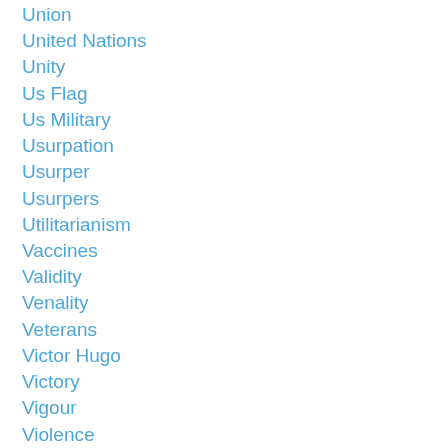Union
United Nations
Unity
Us Flag
Us Military
Usurpation
Usurper
Usurpers
Utilitarianism
Vaccines
Validity
Venality
Veterans
Victor Hugo
Victory
Vigour
Violence
Virgil Goode
Virtue
Voice
Vote